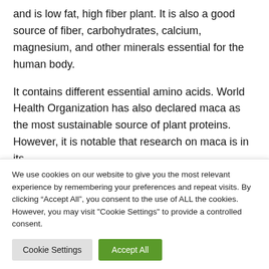and is low fat, high fiber plant. It is also a good source of fiber, carbohydrates, calcium, magnesium, and other minerals essential for the human body.
It contains different essential amino acids. World Health Organization has also declared maca as the most sustainable source of plant proteins. However, it is notable that research on maca is in its preliminary stages, and the results of findings cannot
We use cookies on our website to give you the most relevant experience by remembering your preferences and repeat visits. By clicking “Accept All”, you consent to the use of ALL the cookies. However, you may visit "Cookie Settings" to provide a controlled consent.